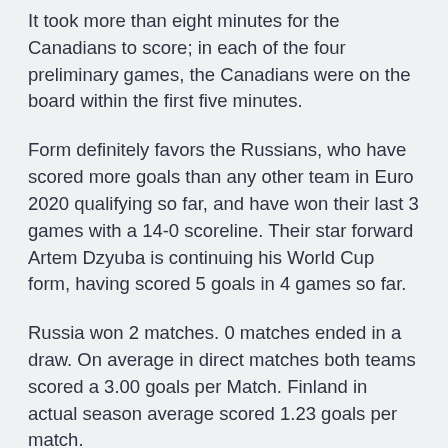It took more than eight minutes for the Canadians to score; in each of the four preliminary games, the Canadians were on the board within the first five minutes.
Form definitely favors the Russians, who have scored more goals than any other team in Euro 2020 qualifying so far, and have won their last 3 games with a 14-0 scoreline. Their star forward Artem Dzyuba is continuing his World Cup form, having scored 5 goals in 4 games so far.
Russia won 2 matches. 0 matches ended in a draw. On average in direct matches both teams scored a 3.00 goals per Match. Finland in actual season average scored 1.23 goals per match.
Stephen O'Connell's own goal saw Russia complete a 2...